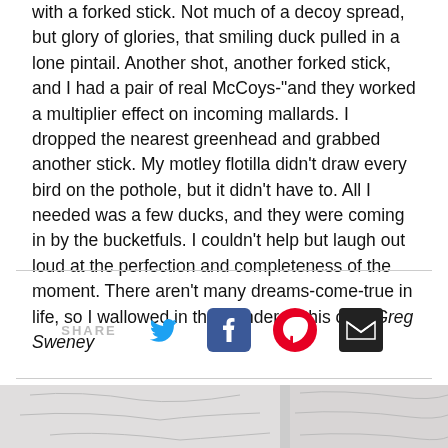with a forked stick. Not much of a decoy spread, but glory of glories, that smiling duck pulled in a lone pintail. Another shot, another forked stick, and I had a pair of real McCoys-"and they worked a multiplier effect on incoming mallards. I dropped the nearest greenhead and grabbed another stick. My motley flotilla didn't draw every bird on the pothole, but it didn't have to. All I needed was a few ducks, and they were coming in by the bucketfuls. I couldn't help but laugh out loud at the perfection and completeness of the moment. There aren't many dreams-come-true in life, so I wallowed in the wonder of this one. Greg Sweney
[Figure (infographic): Social share bar with Twitter, Facebook, Pinterest, and Email icons, preceded by SHARE label]
[Figure (map): Partial map graphic at bottom of page]